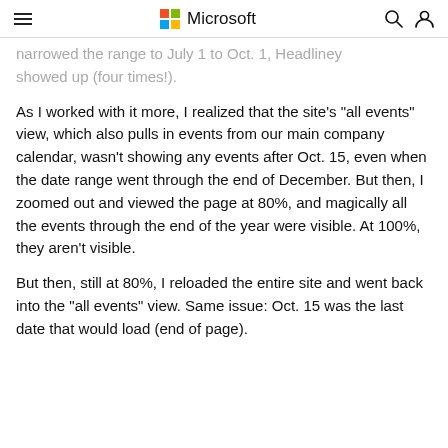Microsoft
narrowed the range to July 1 to Oct. 1, Headliney showed up (four times!).
As I worked with it more, I realized that the site's "all events" view, which also pulls in events from our main company calendar, wasn't showing any events after Oct. 15, even when the date range went through the end of December. But then, I zoomed out and viewed the page at 80%, and magically all the events through the end of the year were visible. At 100%, they aren't visible.
But then, still at 80%, I reloaded the entire site and went back into the "all events" view. Same issue: Oct. 15 was the last date that would load (end of page).